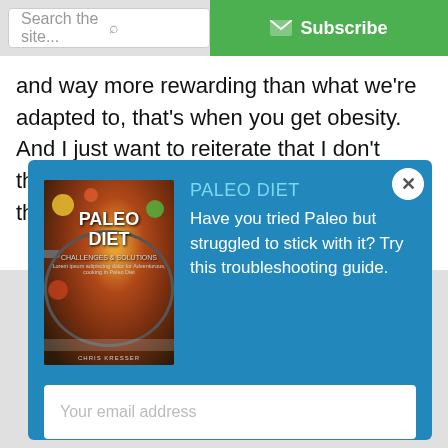Search the site...   Subscribe
and way more rewarding than what we're adapted to, that's when you get obesity.  And I just want to reiterate that I don't think that food reward and palatability is the only...
[Figure (screenshot): Modal popup with Paleo Diet book cover, description text, email input, and Download Now button on blue background]
PALEO DIET
Have you tried Paleo but struggled to stick with it? Try this troubleshooting guide.
Your email address
Download Now